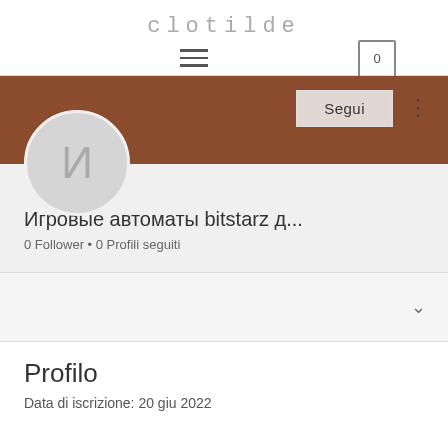clotilde
[Figure (screenshot): Navigation bar with hamburger menu icon and shopping cart icon showing 0]
[Figure (screenshot): User profile page showing brown banner, avatar circle with Cyrillic letter И, Segui button, username Игровые автоматы bitstarz д..., 0 Follower • 0 Profili seguiti, dropdown bar with chevron, Profilo section with Data di iscrizione: 20 giu 2022]